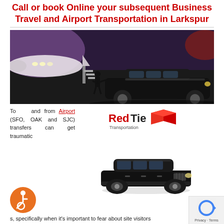Call or book Online your subsequent Business Travel and Airport Transportation in Larkspur
[Figure (photo): Aerial view of a black limousine on a tarmac next to a private jet, with a person in suit walking toward the jet]
To and from Airport (SFO, OAK and SJC) transfers can get traumatic occasion s, specifically when it's important to fear about site visitors
[Figure (logo): RedTie Transportation logo with red 3D cube icon]
[Figure (photo): Black Lincoln Town Car sedan on white background]
[Figure (other): Accessibility wheelchair icon in orange circle]
[Figure (other): reCAPTCHA privacy badge with Privacy and Terms links]